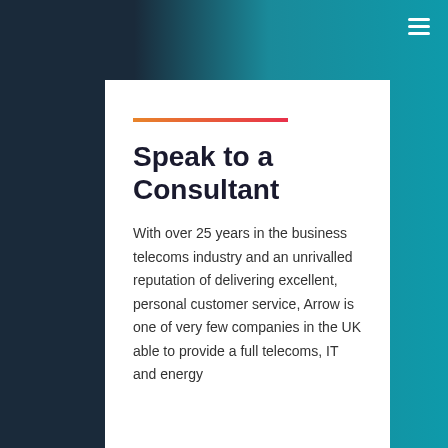[Figure (photo): Background image with dark navy left side and teal right side, person using phone visible in background]
Speak to a Consultant
With over 25 years in the business telecoms industry and an unrivalled reputation of delivering excellent, personal customer service, Arrow is one of very few companies in the UK able to provide a full telecoms, IT and energy